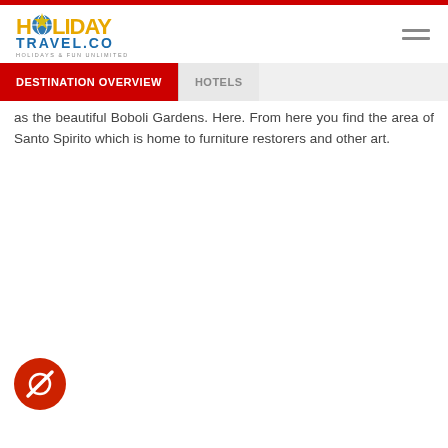Holiday Travel.co — HOLIDAYS & FUN UNLIMITED
as the beautiful Boboli Gardens. Here. From here you find the area of Santo Spirito which is home to furniture restorers and other art.
[Figure (other): Red circular button with a diagonal line/compass icon (floating action button)]